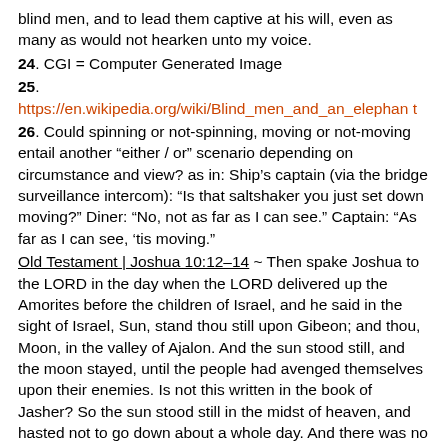blind men, and to lead them captive at his will, even as many as would not hearken unto my voice.
24. CGI = Computer Generated Image
25. https://en.wikipedia.org/wiki/Blind_men_and_an_elephant
26. Could spinning or not-spinning, moving or not-moving entail another “either / or” scenario depending on circumstance and view? as in: Ship’s captain (via the bridge surveillance intercom): “Is that saltshaker you just set down moving?” Diner: “No, not as far as I can see.” Captain: “As far as I can see, ‘tis moving.”
Old Testament | Joshua 10:12–14 ~ Then spake Joshua to the LORD in the day when the LORD delivered up the Amorites before the children of Israel, and he said in the sight of Israel, Sun, stand thou still upon Gibeon; and thou, Moon, in the valley of Ajalon. And the sun stood still, and the moon stayed, until the people had avenged themselves upon their enemies. Is not this written in the book of Jasher? So the sun stood still in the midst of heaven, and hasted not to go down about a whole day. And there was no day like that before it or after it, that the LORD hearkened unto the voice of a man: